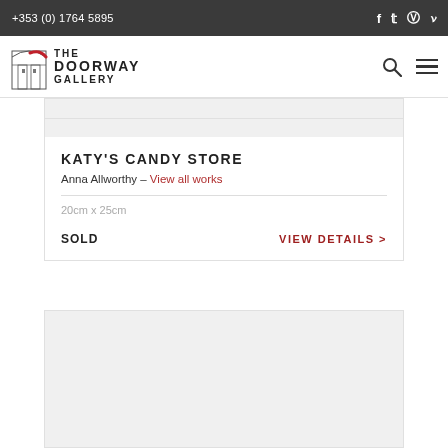+353 (0) 1764 5895
[Figure (logo): The Doorway Gallery logo with arch illustration and red brushstroke]
KATY'S CANDY STORE
Anna Allworthy – View all works
20cm x 25cm
SOLD
VIEW DETAILS >